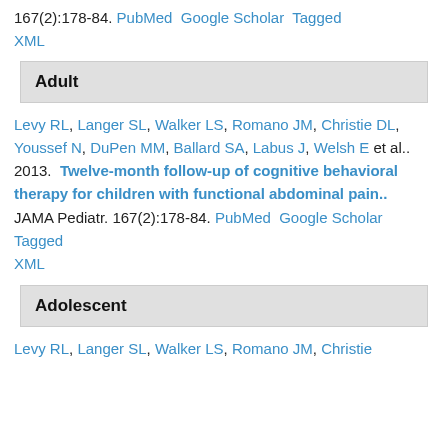167(2):178-84. PubMed  Google Scholar  Tagged  XML
Adult
Levy RL, Langer SL, Walker LS, Romano JM, Christie DL, Youssef N, DuPen MM, Ballard SA, Labus J, Welsh E et al..  2013.  Twelve-month follow-up of cognitive behavioral therapy for children with functional abdominal pain..  JAMA Pediatr. 167(2):178-84. PubMed  Google Scholar  Tagged  XML
Adolescent
Levy RL, Langer SL, Walker LS, Romano JM, Christie